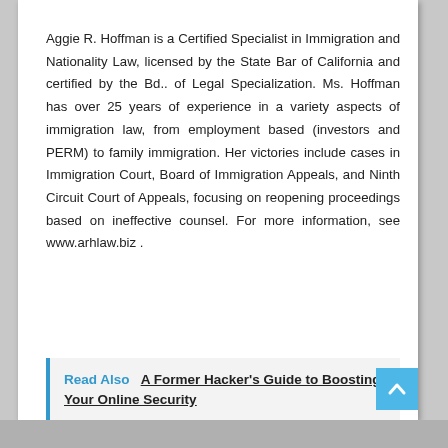Aggie R. Hoffman is a Certified Specialist in Immigration and Nationality Law, licensed by the State Bar of California and certified by the Bd.. of Legal Specialization. Ms. Hoffman has over 25 years of experience in a variety aspects of immigration law, from employment based (investors and PERM) to family immigration. Her victories include cases in Immigration Court, Board of Immigration Appeals, and Ninth Circuit Court of Appeals, focusing on reopening proceedings based on ineffective counsel. For more information, see www.arhlaw.biz .
Read Also   A Former Hacker's Guide to Boosting Your Online Security